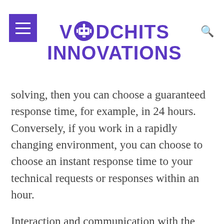VODCHITS INNOVATIONS
solving, then you can choose a guaranteed response time, for example, in 24 hours. Conversely, if you work in a rapidly changing environment, you can choose to choose an instant response time to your technical requests or responses within an hour.
Interaction and communication with the technical support team of Vodchits Innovations Corp can be carried out through a large number of modern methods. We strive to be as flexible as possible for our customers. You can receive